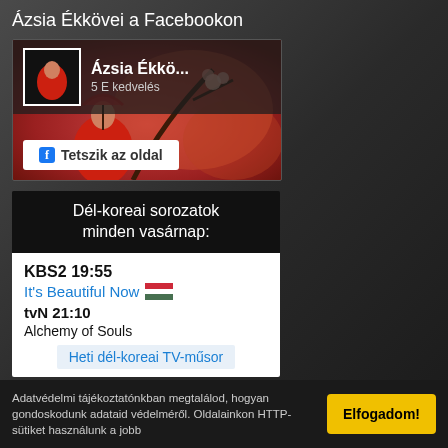Ázsia Ékkövei a Facebookon
[Figure (screenshot): Facebook widget showing Ázsia Ékkö... page with 5 E kedvelés (5K likes) and a 'Tetszik az oldal' (Like page) button, with a cover image of a woman in red kimono]
Dél-koreai sorozatok minden vasárnap:
KBS2 19:55
It's Beautiful Now 🇭🇺
tvN 21:10
Alchemy of Souls
Heti dél-koreai TV-műsor
Legfrissebb videoklipek
Adatvédelmi tájékoztatónkban megtalálod, hogyan gondoskodunk adataid védelméről. Oldalainkon HTTP-sütiket használunk a jobb
Elfogadom!